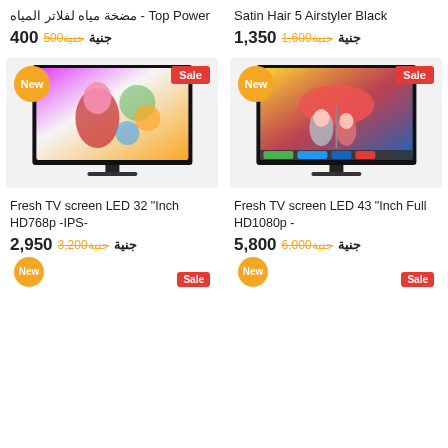مضخة مياه لفلاتر المياه - Top Power
جنية 400 جنية500
Satin Hair 5 Airstyler Black
جنية 1,350 جنية1,600
[Figure (photo): LED TV showing colorful woman with floral head with New and Sale badges]
[Figure (photo): LED TV showing two girls under umbrella with New and Sale badges]
Fresh TV screen LED 32 "Inch HD768p -IPS-
جنية 2,950 جنية3,200
Fresh TV screen LED 43 "Inch Full HD1080p -
جنية 5,800 جنية6,000